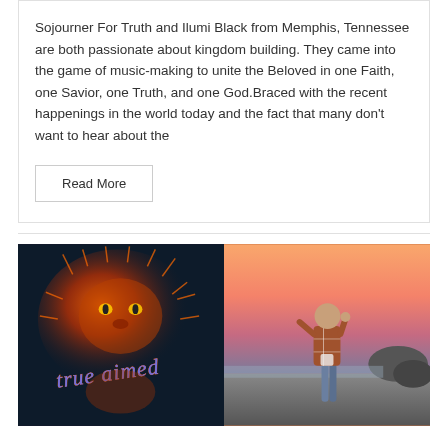Sojourner For Truth and Ilumi Black from Memphis, Tennessee are both passionate about kingdom building. They came into the game of music-making to unite the Beloved in one Faith, one Savior, one Truth, and one God.Braced with the recent happenings in the world today and the fact that many don't want to hear about the
Read More
[Figure (photo): Two-panel image: left panel shows a dark artistic image with a lion and 'true aimed' text in colorful gothic lettering; right panel shows a person standing on a beach at sunset/dusk wearing a plaid shirt.]